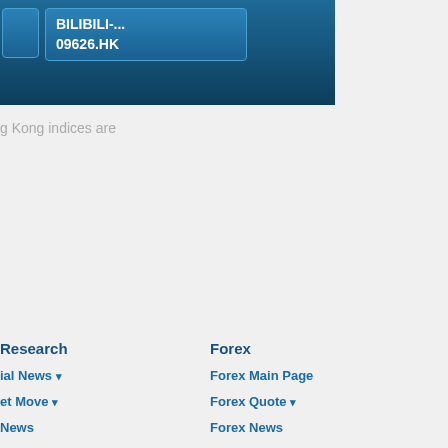[Figure (screenshot): Dark blue navigation panel with a stock ticker button showing BILIBILI-... 09626.HK on a blue gradient background]
g Kong indices are
Research
Forex
ial News ▾
Forex Main Page
et Move ▾
Forex Quote ▾
News
Forex News
t Topics ▾
Commentary
Markets ▾
Multi Currencies Converter
entary